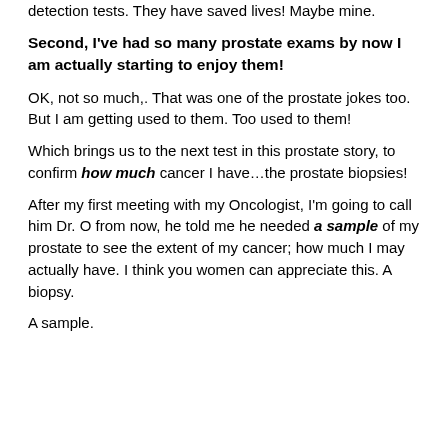detection tests. They have saved lives! Maybe mine.
Second, I've had so many prostate exams by now I am actually starting to enjoy them!
OK, not so much,. That was one of the prostate jokes too. But I am getting used to them. Too used to them!
Which brings us to the next test in this prostate story, to confirm how much cancer I have…the prostate biopsies!
After my first meeting with my Oncologist, I'm going to call him Dr. O from now, he told me he needed a sample of my prostate to see the extent of my cancer; how much I may actually have. I think you women can appreciate this. A biopsy.
A sample.